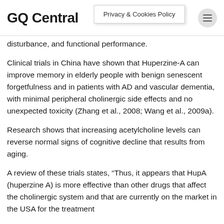GQ Central | Privacy & Cookies Policy
disturbance, and functional performance.
Clinical trials in China have shown that Huperzine-A can improve memory in elderly people with benign senescent forgetfulness and in patients with AD and vascular dementia, with minimal peripheral cholinergic side effects and no unexpected toxicity (Zhang et al., 2008; Wang et al., 2009a).
Research shows that increasing acetylcholine levels can reverse normal signs of cognitive decline that results from aging.
A review of these trials states, “Thus, it appears that HupA (huperzine A) is more effective than other drugs that affect the cholinergic system and that are currently on the market in the USA for the treatment